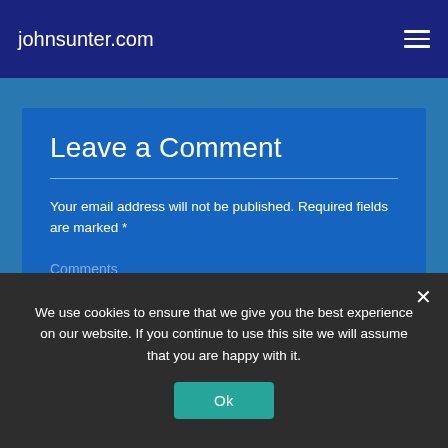johnsunter.com
Leave a Comment
Your email address will not be published. Required fields are marked *
Comments
We use cookies to ensure that we give you the best experience on our website. If you continue to use this site we will assume that you are happy with it.